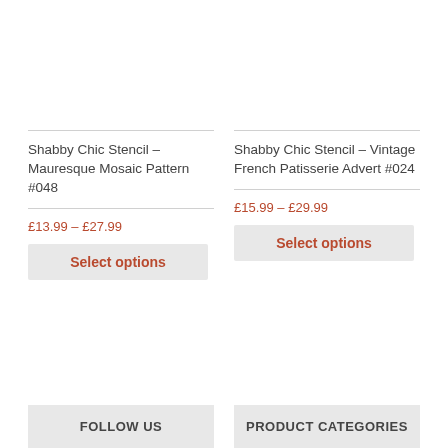[Figure (photo): Product image area for Shabby Chic Stencil - Mauresque Mosaic Pattern #048 (blank/white)]
Shabby Chic Stencil – Mauresque Mosaic Pattern #048
£13.99 – £27.99
Select options
[Figure (photo): Product image area for Shabby Chic Stencil - Vintage French Patisserie Advert #024 (blank/white)]
Shabby Chic Stencil – Vintage French Patisserie Advert #024
£15.99 – £29.99
Select options
FOLLOW US
PRODUCT CATEGORIES